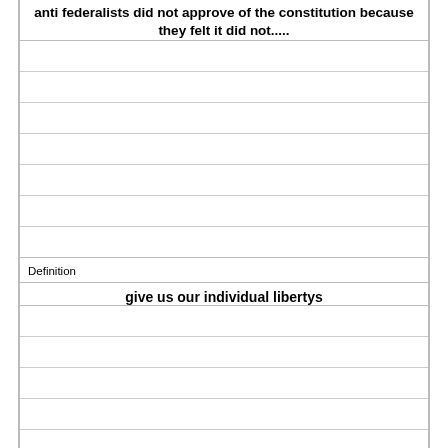anti federalists did not approve of the constitution because they felt it did not.....
Definition
give us our individual libertys
Term